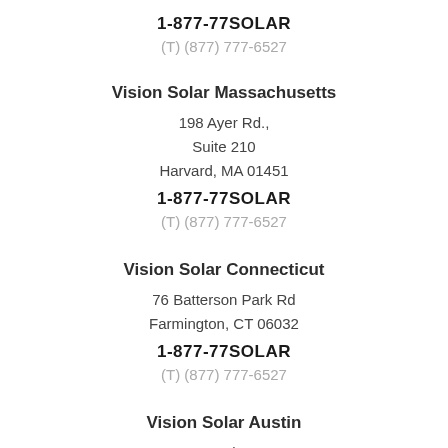1-877-77SOLAR
(T) (877) 777-6527
Vision Solar Massachusetts
198 Ayer Rd.,
Suite 210
Harvard, MA 01451
1-877-77SOLAR
(T) (877) 777-6527
Vision Solar Connecticut
76 Batterson Park Rd
Farmington, CT 06032
1-877-77SOLAR
(T) (877) 777-6527
Vision Solar Austin
2535 Brockton Dr.